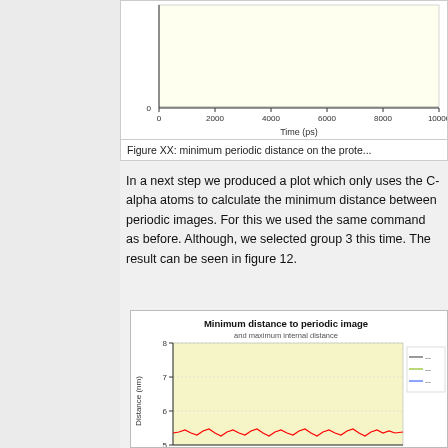[Figure (continuous-plot): Top portion of a line chart showing minimum periodic distance on the protein over time (ps), x-axis from 0 to 10000 ps, y-axis showing 0 at bottom.]
Figure XX: minimum periodic distance on the prote...
In a next step we produced a plot which only uses the C-alpha atoms to calculate the minimum distance between periodic images. For this we used the same command as before. Although, we selected group 3 this time. The result can be seen in figure 12.
[Figure (continuous-plot): Line chart titled 'Minimum distance to periodic image and maximum internal distance'. Shows a red line fluctuating around 5.3-5.5 nm from approximately 0 to 10000 ps. Y-axis labeled 'Distance (nm)' with visible ticks at 5, 6, 7, 8. Background is light yellow. Legend on right side.]